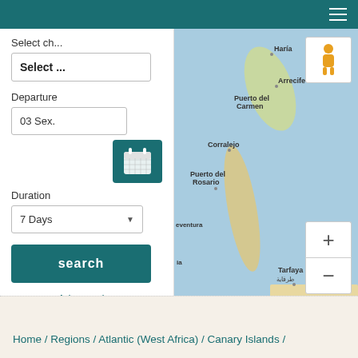[Figure (screenshot): Navigation bar with hamburger menu icon on dark teal background]
[Figure (map): Google Maps showing Canary Islands area including Lanzarote (Haria, Arrecife, Puerto del Carmen) and Fuerteventura (Corralejo, Puerto del Rosario). Map data 2022 Google, Inst. Geogr. Nacional.]
Select ch...
Select ...
Departure
03 Sex.
Duration
7 Days
search
Advanced Search
Map data ©2022 Google, Inst. Geogr. Nacional Terms of Use
Home / Regions / Atlantic (West Africa) / Canary Islands /